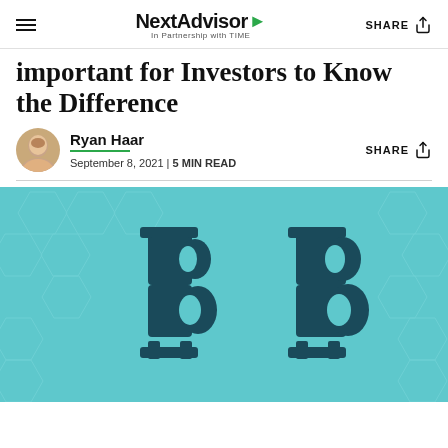NextAdvisor In Partnership with TIME
important for Investors to Know the Difference
Ryan Haar
September 8, 2021 | 5 MIN READ
[Figure (illustration): Two bitcoin symbols side by side on a teal hexagonal background — one reversed (mirror image) and one normal, representing two similar but different cryptocurrencies]